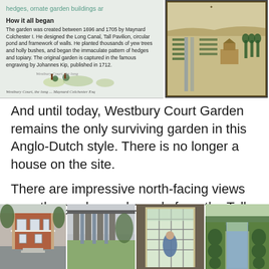[Figure (photo): Informational sign panel about Westbury Court Garden showing 'How it all began' section with text about the garden being created between 1696 and 1705 by Maynard Colchester I, and a small illustration at the bottom]
[Figure (illustration): Historical engraving by Johannes Kip (published 1712) showing an aerial/bird's eye view of Westbury Court Garden with formal garden layout, canals, and topiary]
And until today, Westbury Court Garden remains the only surviving garden in this Anglo-Dutch style. There is no longer a house on the site.
There are impressive north-facing views over the garden and canals from the Tall Pavilion.
[Figure (photo): Photo of a red brick building - the Tall Pavilion at Westbury Court Garden]
[Figure (photo): Photo of stone columns/pillars with a canal and garden view behind]
[Figure (photo): Photo of a person standing in a doorway/window frame with garden view]
[Figure (photo): Photo of the long canal at Westbury Court Garden with formal hedging on both sides]